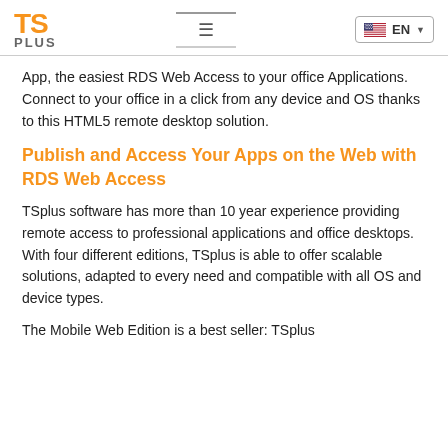TSplus EN
App, the easiest RDS Web Access to your office Applications. Connect to your office in a click from any device and OS thanks to this HTML5 remote desktop solution.
Publish and Access Your Apps on the Web with RDS Web Access
TSplus software has more than 10 year experience providing remote access to professional applications and office desktops. With four different editions, TSplus is able to offer scalable solutions, adapted to every need and compatible with all OS and device types.
The Mobile Web Edition is a best seller: TSplus